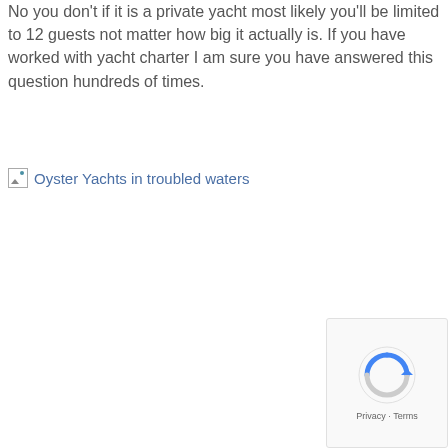No you don't if it is a private yacht most likely you'll be limited to 12 guests not matter how big it actually is. If you have worked with yacht charter I am sure you have answered this question hundreds of times.
[Figure (photo): Broken image placeholder for 'Oyster Yachts in troubled waters' with alt text shown]
[Figure (other): reCAPTCHA badge widget with circular arrow logo and Privacy · Terms text]